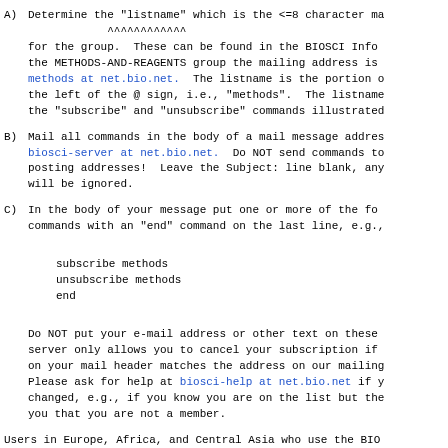A) Determine the "listname" which is the <=8 character ma
            ^^^^^^^^^^^^^
for the group.  These can be found in the BIOSCI Info
the METHODS-AND-REAGENTS group the mailing address is
methods at net.bio.net.  The listname is the portion o
the left of the @ sign, i.e., "methods".  The listname
the "subscribe" and "unsubscribe" commands illustrated
B) Mail all commands in the body of a mail message addres
biosci-server at net.bio.net.  Do NOT send commands to
posting addresses!  Leave the Subject: line blank, any
will be ignored.
C) In the body of your message put one or more of the fo
commands with an "end" command on the last line, e.g.,

subscribe methods
unsubscribe methods
end

Do NOT put your e-mail address or other text on these
server only allows you to cancel your subscription if
on your mail header matches the address on our mailing
Please ask for help at biosci-help at net.bio.net if y
changed, e.g., if you know you are on the list but the
you that you are not a member.
Users in Europe, Africa, and Central Asia who use the BIO